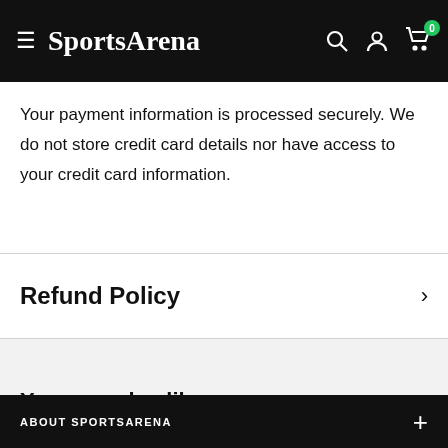SportsArena
Your payment information is processed securely. We do not store credit card details nor have access to your credit card information.
Refund Policy
You may also like
ABOUT SPORTSARENA